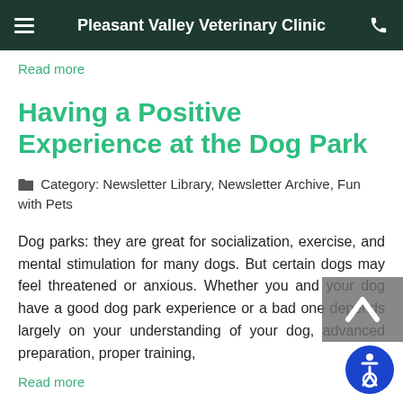Pleasant Valley Veterinary Clinic
Read more
Having a Positive Experience at the Dog Park
Category: Newsletter Library, Newsletter Archive, Fun with Pets
Dog parks: they are great for socialization, exercise, and mental stimulation for many dogs. But certain dogs may feel threatened or anxious. Whether you and your dog have a good dog park experience or a bad one depends largely on your understanding of your dog, advanced preparation, proper training,
Read more